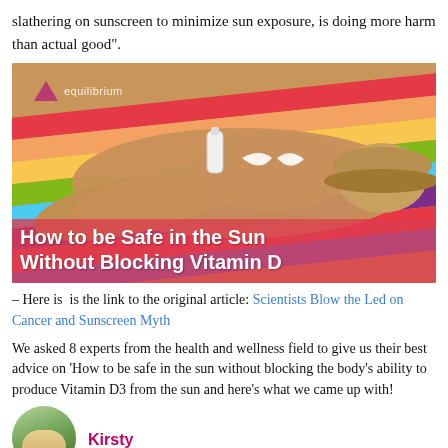slathering on sunscreen to minimize sun exposure, is doing more harm than actual good".
[Figure (photo): Woman in white bikini lying on a rainbow-colored towel on a beach, holding a sunscreen bottle, wearing a straw hat. Overlay text reads: 'How to be Safe in the Sun Without Blocking Vitamin D'. Equilibrium logo in top-left corner.]
– Here is  is the link to the original article: Scientists Blow the Led on Cancer and Sunscreen Myth
We asked 8 experts from the health and wellness field to give us their best advice on 'How to be safe in the sun without blocking the body's ability to produce Vitamin D3 from the sun and here's what we came up with!
Kirsty